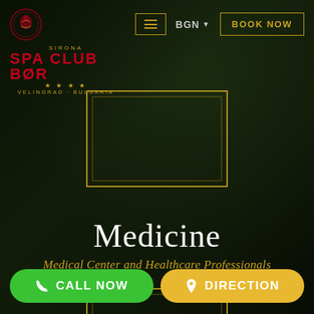[Figure (screenshot): Website screenshot for Sirona Spa Club Bor, Velingrad Bulgaria. Dark background with blurred foliage/nature photography. Navigation header with hamburger menu, BGN currency selector, and BOOK NOW button. Central decorative gold rectangular frame forming a cross shape around a Medicine section title. Main title reads 'Medicine' in white serif font. Subtitle reads 'Medical Center and Healthcare Professionals' in gold italic font. Bottom bar has two rounded pill buttons: green CALL NOW and golden DIRECTION.]
Medicine
Medical Center and Healthcare Professionals
BGN
BOOK NOW
CALL NOW
DIRECTION